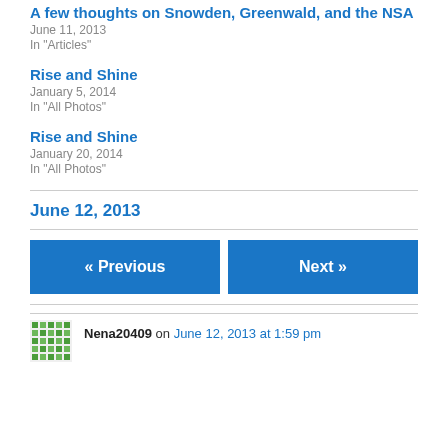A few thoughts on Snowden, Greenwald, and the NSA
June 11, 2013
In "Articles"
Rise and Shine
January 5, 2014
In "All Photos"
Rise and Shine
January 20, 2014
In "All Photos"
June 12, 2013
« Previous
Next »
Nena20409 on June 12, 2013 at 1:59 pm